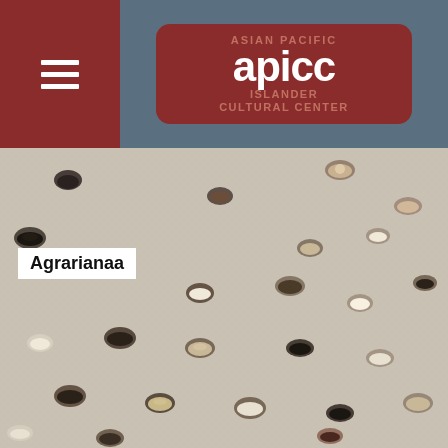[Figure (logo): APICC Asian Pacific Islander Cultural Center logo with white 'apicc' text on dark red rounded rectangle background with faded text behind, set in grey-blue header bar with dark red hamburger menu block on left]
[Figure (photo): Overhead photograph of many small clay/ceramic bowls and cups containing various seeds, spices, and dried goods arranged on a white linen fabric background]
Agrarianaa